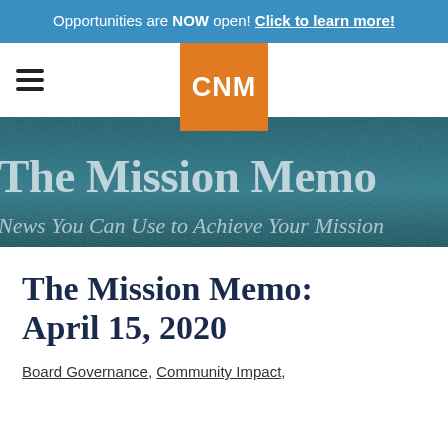Opportunities are NOW open! Click to learn more!
[Figure (logo): CNM logo in orange square with hamburger menu icon to the left]
[Figure (photo): Hero banner with teal/teal-green overlay showing group of people in background, with text 'The Mission Memo' and subtitle 'News You Can Use to Achieve Your Mission']
The Mission Memo: April 15, 2020
Board Governance, Community Impact,